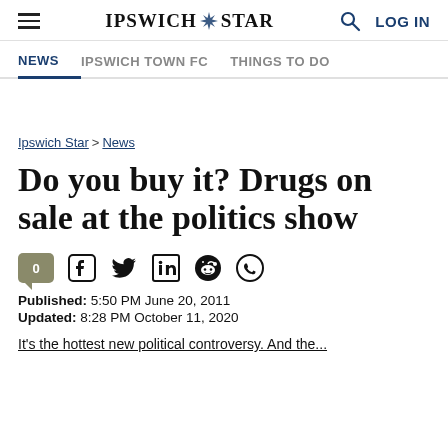Ipswich Star — NEWS | IPSWICH TOWN FC | THINGS TO DO | LOG IN
Ipswich Star > News
Do you buy it? Drugs on sale at the politics show
Published: 5:50 PM June 20, 2011
Updated: 8:28 PM October 11, 2020